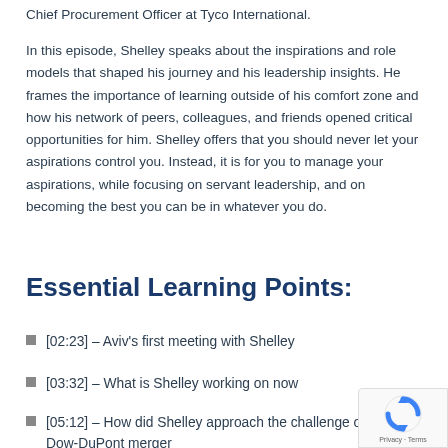Chief Procurement Officer at Tyco International.
In this episode, Shelley speaks about the inspirations and role models that shaped his journey and his leadership insights. He frames the importance of learning outside of his comfort zone and how his network of peers, colleagues, and friends opened critical opportunities for him. Shelley offers that you should never let your aspirations control you. Instead, it is for you to manage your aspirations, while focusing on servant leadership, and on becoming the best you can be in whatever you do.
Essential Learning Points:
[02:23] – Aviv's first meeting with Shelley
[03:32] – What is Shelley working on now
[05:12] – How did Shelley approach the challenge of the Dow-DuPont merger